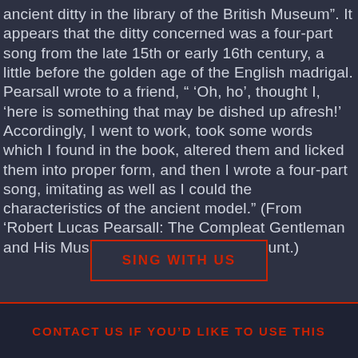ancient ditty in the library of the British Museum”. It appears that the ditty concerned was a four-part song from the late 15th or early 16th century, a little before the golden age of the English madrigal. Pearsall wrote to a friend, “ ‘Oh, ho’, thought I, ‘here is something that may be dished up afresh!’ Accordingly, I went to work, took some words which I found in the book, altered them and licked them into proper form, and then I wrote a four-part song, imitating as well as I could the characteristics of the ancient model.” (From ‘Robert Lucas Pearsall: The Compleat Gentleman and His Music, 1795-1856’ by Edgar Hunt.)
SING WITH US
CONTACT US IF YOU'D LIKE TO USE THIS